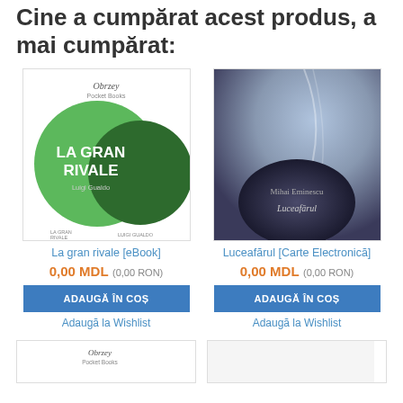Cine a cumpărat acest produs, a mai cumpărat:
[Figure (illustration): Book cover: La gran rivale by Luigi Gualdo - green circles on white background (Obrzey Pocket Books publisher)]
La gran rivale [eBook]
0,00 MDL (0,00 RON)
ADAUGĂ ÎN COȘ
Adaugă la Wishlist
[Figure (illustration): Book cover: Luceafărul by Mihai Eminescu - dark abstract background with dark circular element]
Luceafărul [Carte Electronică]
0,00 MDL (0,00 RON)
ADAUGĂ ÎN COȘ
Adaugă la Wishlist
[Figure (illustration): Bottom partial book cover - Obrzey Pocket Books logo visible]
[Figure (illustration): Bottom partial book cover - blank/white]